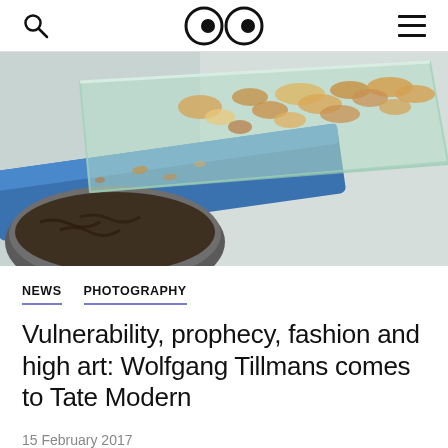Search | Logo | Menu
[Figure (photo): Close-up photograph of a glass dish containing granola or cereal-like food items, placed on a blue painted surface with a metal bowl in the foreground containing dried items, shot from a low angle]
NEWS   PHOTOGRAPHY
Vulnerability, prophecy, fashion and high art: Wolfgang Tillmans comes to Tate Modern
15 February 2017